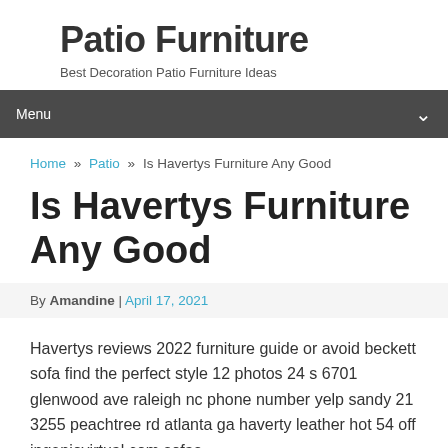Patio Furniture
Best Decoration Patio Furniture Ideas
Menu
Home » Patio » Is Havertys Furniture Any Good
Is Havertys Furniture Any Good
By Amandine | April 17, 2021
Havertys reviews 2022 furniture guide or avoid beckett sofa find the perfect style 12 photos 24 s 6701 glenwood ave raleigh nc phone number yelp sandy 21 3255 peachtree rd atlanta ga haverty leather hot 54 off ingeniovirtual com sofas